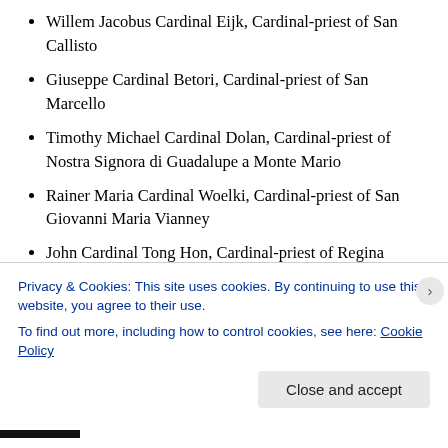Willem Jacobus Cardinal Eijk, Cardinal-priest of San Callisto
Giuseppe Cardinal Betori, Cardinal-priest of San Marcello
Timothy Michael Cardinal Dolan, Cardinal-priest of Nostra Signora di Guadalupe a Monte Mario
Rainer Maria Cardinal Woelki, Cardinal-priest of San Giovanni Maria Vianney
John Cardinal Tong Hon, Cardinal-priest of Regina Apostolorum
Lucian Cardinal Muresan, Cardinal-priest of Sant' Atanasio
Julien Cardinal Ries, Cardinal-deacon of San
Privacy & Cookies: This site uses cookies. By continuing to use this website, you agree to their use.
To find out more, including how to control cookies, see here: Cookie Policy